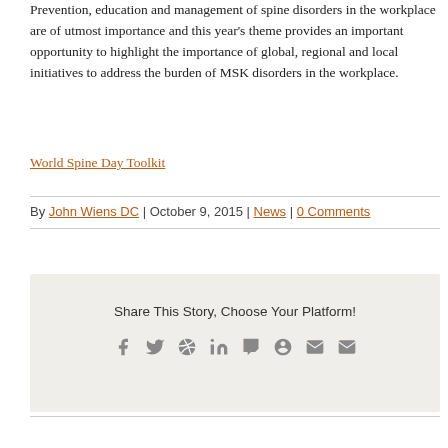Prevention, education and management of spine disorders in the workplace are of utmost importance and this year's theme provides an important opportunity to highlight the importance of global, regional and local initiatives to address the burden of MSK disorders in the workplace.
World Spine Day Toolkit
By John Wiens DC | October 9, 2015 | News | 0 Comments
[Figure (infographic): Share This Story, Choose Your Platform! section with social media icons: Facebook, Twitter, Reddit, LinkedIn, Tumblr, Pinterest, VK, Email]